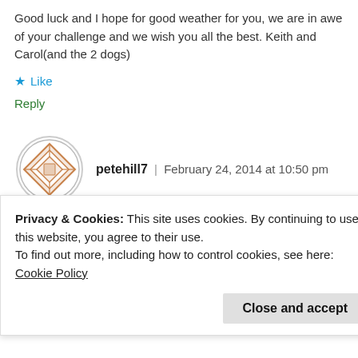Good luck and I hope for good weather for you, we are in awe of your challenge and we wish you all the best. Keith and Carol(and the 2 dogs)
★ Like
Reply
[Figure (illustration): Circular avatar icon with orange geometric quilt/diamond pattern on white background with circular border]
petehill7 | February 24, 2014 at 10:50 pm
Hi Keith and Carol
Lovely to meet and chat with you both too – I
Privacy & Cookies: This site uses cookies. By continuing to use this website, you agree to their use.
To find out more, including how to control cookies, see here: Cookie Policy
Close and accept